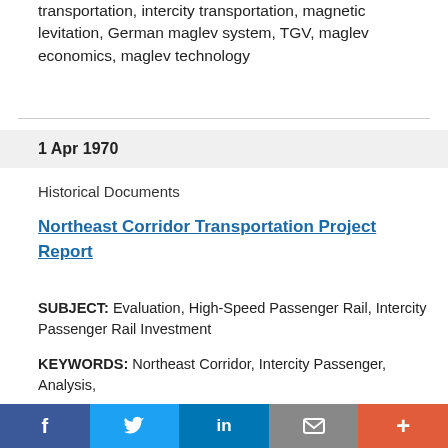transportation, intercity transportation, magnetic levitation, German maglev system, TGV, maglev economics, maglev technology
1 Apr 1970
Historical Documents
Northeast Corridor Transportation Project Report
SUBJECT: Evaluation, High-Speed Passenger Rail, Intercity Passenger Rail Investment
KEYWORDS: Northeast Corridor, Intercity Passenger, Analysis,
ABSTRACT:
f  [Twitter bird]  in  [envelope]  +